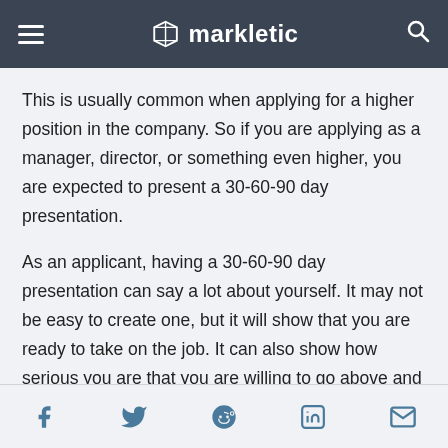markletic
This is usually common when applying for a higher position in the company. So if you are applying as a manager, director, or something even higher, you are expected to present a 30-60-90 day presentation.
As an applicant, having a 30-60-90 day presentation can say a lot about yourself. It may not be easy to create one, but it will show that you are ready to take on the job. It can also show how serious you are that you are willing to go above and beyond to prove it.
A 30-60-90 day presentation will also enable
Social icons: Facebook, Twitter, Reddit, LinkedIn, Email